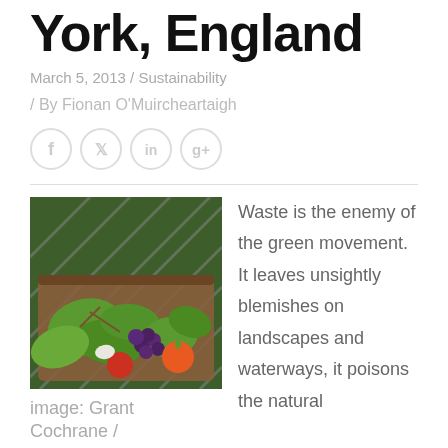York, England
March 5, 2013 / Sustainability
/ By Fionan O'Muircheartaigh
[Figure (other): Social media share icons: Facebook, Twitter, LinkedIn, Google+]
[Figure (photo): A composting bin filled with green leaves, fruits including grapes and apples, and organic vegetable waste]
image: Grant Cochrane /
Waste is the enemy of the green movement. It leaves unsightly blemishes on landscapes and waterways, it poisons the natural